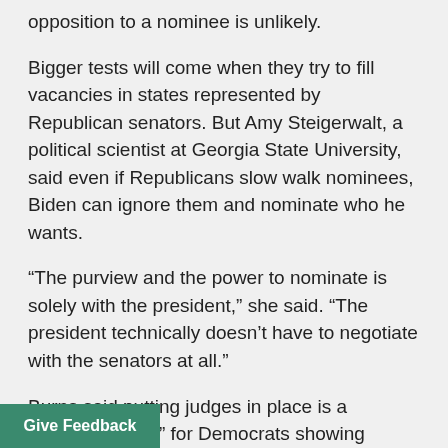opposition to a nominee is unlikely.
Bigger tests will come when they try to fill vacancies in states represented by Republican senators. But Amy Steigerwalt, a political scientist at Georgia State University, said even if Republicans slow walk nominees, Biden can ignore them and nominate who he wants.
“The purview and the power to nominate is solely with the president,” she said. “The president technically doesn’t have to negotiate with the senators at all.”
Burns said putting judges in place is a “political winner” for Democrats showing government is working and can be highlighted in the election season to change the narrative.
“It’s a question of whether the president is willing to take some bad press in red states to do something that — part secure his agenda,” he said.
Give Feedback